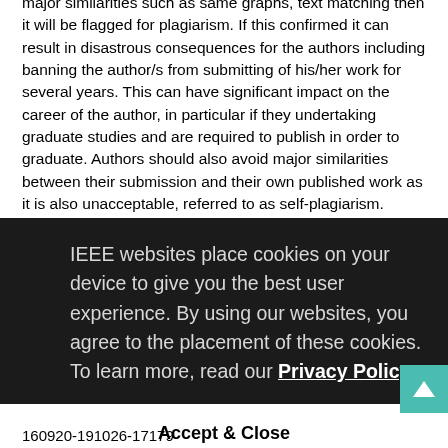major similarities such as same graphs, text matching then it will be flagged for plagiarism. If this confirmed it can result in disastrous consequences for the authors including banning the author/s from submitting of his/her work for several years. This can have significant impact on the career of the author, in particular if they undertaking graduate studies and are required to publish in order to graduate. Authors should also avoid major similarities between their submission and their own published work as it is also unacceptable, referred to as self-plagiarism.
The presentation also discussed the reasons for rejection and consequences for using these, the importance of selecting of a good title, citation of well-established, specific sections of a paper to address errors introduction and choice of tense (present or past), the conclusion should summarize and present the key findings and data to support the discussion. Results should be interpreted and the benefits and shortcomings of the research should be presented. Authors must cite all relevant work and credit authors with due diligence who have previously made contributions in this area.
IEEE websites place cookies on your device to give you the best user experience. By using our websites, you agree to the placement of these cookies. To learn more, read our Privacy Policy.
Accept & Close
160920-191026-17179